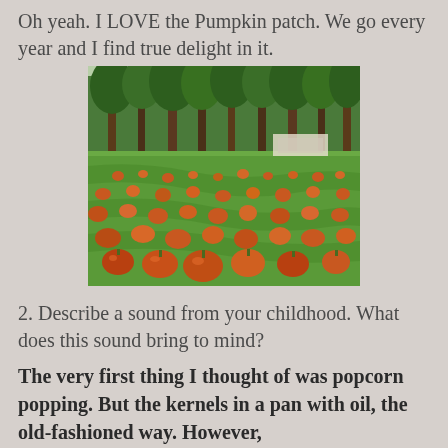Oh yeah. I LOVE the Pumpkin patch. We go every year and I find true delight in it.
[Figure (photo): A pumpkin patch with rows of orange pumpkins spread across a grassy field surrounded by tall pine trees, with a vehicle visible in the background.]
2. Describe a sound from your childhood. What does this sound bring to mind?
The very first thing I thought of was popcorn popping. But the kernels in a pan with oil, the old-fashioned way. However,